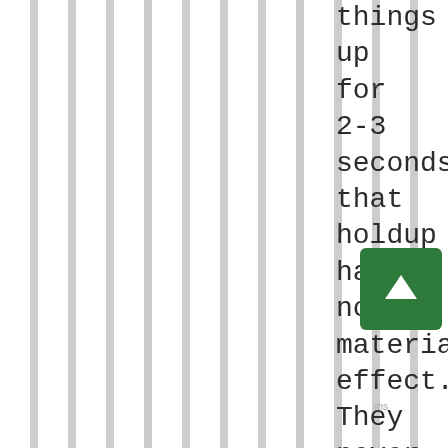[Figure (other): Vertical gray and white alternating stripes background filling most of the page width]
things up for 2-3 seconds that holdup had no material effect. They never were going to get the 49ers